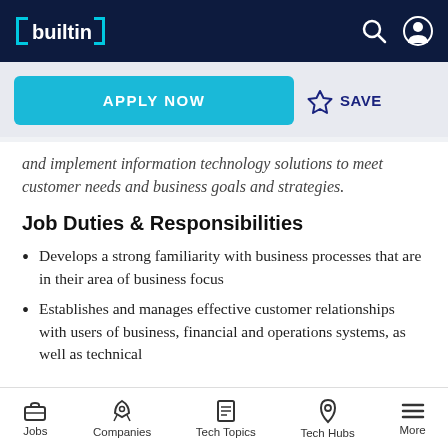builtin — navigation bar with search and user icons
APPLY NOW
☆ SAVE
and implement information technology solutions to meet customer needs and business goals and strategies.
Job Duties & Responsibilities
Develops a strong familiarity with business processes that are in their area of business focus
Establishes and manages effective customer relationships with users of business, financial and operations systems, as well as technical
Jobs   Companies   Tech Topics   Tech Hubs   More